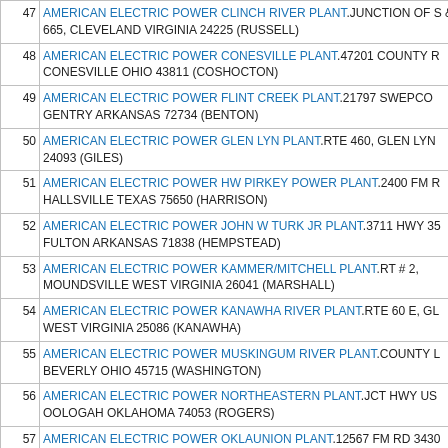| # | Name / Address |
| --- | --- |
| 47 | AMERICAN ELECTRIC POWER CLINCH RIVER PLANT.JUNCTION OF S & 665, CLEVELAND VIRGINIA 24225 (RUSSELL) |
| 48 | AMERICAN ELECTRIC POWER CONESVILLE PLANT.47201 COUNTY R CONESVILLE OHIO 43811 (COSHOCTON) |
| 49 | AMERICAN ELECTRIC POWER FLINT CREEK PLANT.21797 SWEPCO GENTRY ARKANSAS 72734 (BENTON) |
| 50 | AMERICAN ELECTRIC POWER GLEN LYN PLANT.RTE 460, GLEN LYN 24093 (GILES) |
| 51 | AMERICAN ELECTRIC POWER HW PIRKEY POWER PLANT.2400 FM R HALLSVILLE TEXAS 75650 (HARRISON) |
| 52 | AMERICAN ELECTRIC POWER JOHN W TURK JR PLANT.3711 HWY 35 FULTON ARKANSAS 71838 (HEMPSTEAD) |
| 53 | AMERICAN ELECTRIC POWER KAMMER/MITCHELL PLANT.RT # 2, MOUNDSVILLE WEST VIRGINIA 26041 (MARSHALL) |
| 54 | AMERICAN ELECTRIC POWER KANAWHA RIVER PLANT.RTE 60 E, GL WEST VIRGINIA 25086 (KANAWHA) |
| 55 | AMERICAN ELECTRIC POWER MUSKINGUM RIVER PLANT.COUNTY L BEVERLY OHIO 45715 (WASHINGTON) |
| 56 | AMERICAN ELECTRIC POWER NORTHEASTERN PLANT.JCT HWY US OOLOGAH OKLAHOMA 74053 (ROGERS) |
| 57 | AMERICAN ELECTRIC POWER OKLAUNION PLANT.12567 FM RD 3430 TEXAS 76384 (WILBARGER) |
| 58 | AMERICAN ELECTRIC POWER PHILIP SPORN PLANT.STATE RT 33, M |